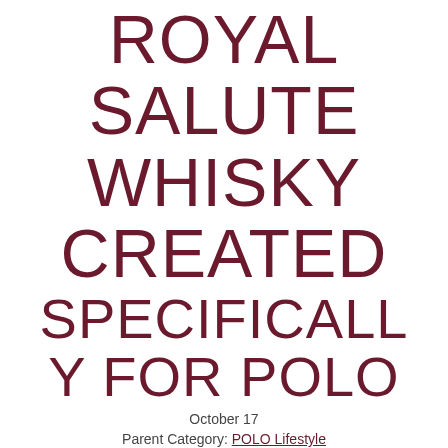ROYAL SALUTE WHISKY CREATED SPECIFICALLY FOR POLO
October 17
Parent Category: POLO Lifestyle
Uploaded by Alberto Van De Mye
Published in Ampelology et alibi       Hits: 30126